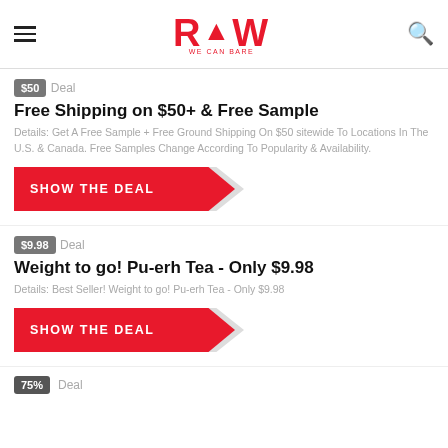RAW
$50  Deal
Free Shipping on $50+ & Free Sample
Details: Get A Free Sample + Free Ground Shipping On $50 sitewide To Locations In The U.S. & Canada. Free Samples Change According To Popularity & Availability.
[Figure (other): SHOW THE DEAL red button with arrow chevron]
$9.98  Deal
Weight to go! Pu-erh Tea - Only $9.98
Details: Best Seller! Weight to go! Pu-erh Tea - Only $9.98
[Figure (other): SHOW THE DEAL red button with arrow chevron]
75%  Deal